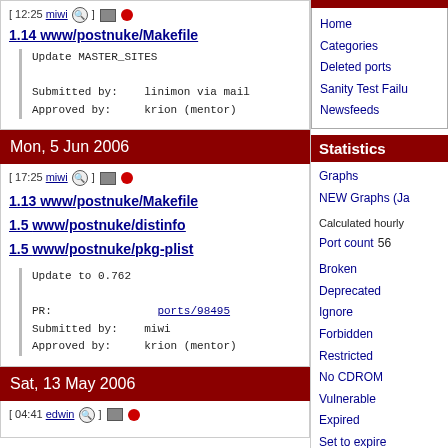[ 12:25 miwi ] [icon] [dot]
1.14 www/postnuke/Makefile
Update MASTER_SITES

Submitted by:    linimon via mail
Approved by:     krion (mentor)
Mon, 5 Jun 2006
[ 17:25 miwi ] [icon] [dot]
1.13 www/postnuke/Makefile
1.5 www/postnuke/distinfo
1.5 www/postnuke/pkg-plist
Update to 0.762

PR:              ports/98495
Submitted by:    miwi
Approved by:     krion (mentor)
Sat, 13 May 2006
[ 04:41 edwin ] [icon] [dot]
Home
Categories
Deleted ports
Sanity Test Failu...
Newsfeeds
Statistics
Graphs
NEW Graphs (Ja...
Calculated hourly
Port count  56...
Broken
Deprecated
Ignore
Forbidden
Restricted
No CDROM
Vulnerable
Expired
Set to expire
Interactive
new 24 hours
new 48 hours